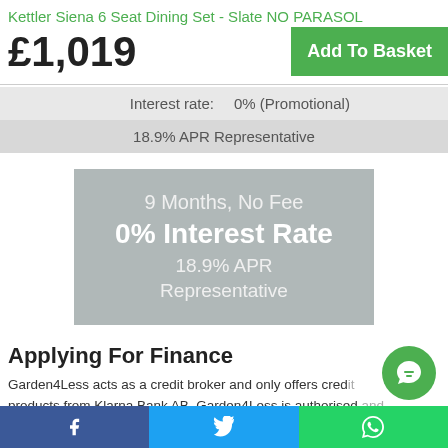Kettler Siena 6 Seat Dining Set - Slate NO PARASOL
£1,019
Add To Basket
| Interest rate: | 0% (Promotional) |
| 18.9% APR Representative |  |
[Figure (infographic): Grey promotional box showing: 9 Months, No Fee / 0% Interest Rate / 18.9% APR Representative]
Applying For Finance
Garden4Less acts as a credit broker and only offers credit products from Klarna Bank AB. Garden4Less is authorised and regulated by the Financial Conduct Authority. Our registration
Facebook | Twitter | WhatsApp